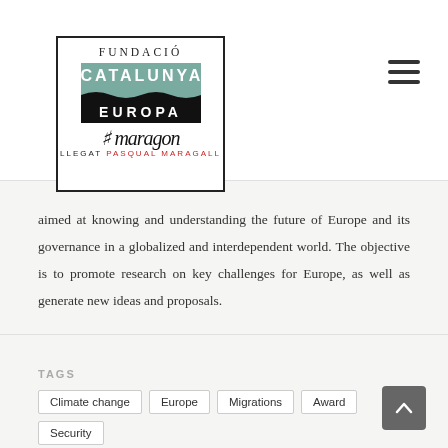[Figure (logo): Fundació Catalunya Europa logo with Llegat Pasqual Maragall signature]
aimed at knowing and understanding the future of Europe and its governance in a globalized and interdependent world. The objective is to promote research on key challenges for Europe, as well as generate new ideas and proposals.
TAGS
Climate change
Europe
Migrations
Award
Security